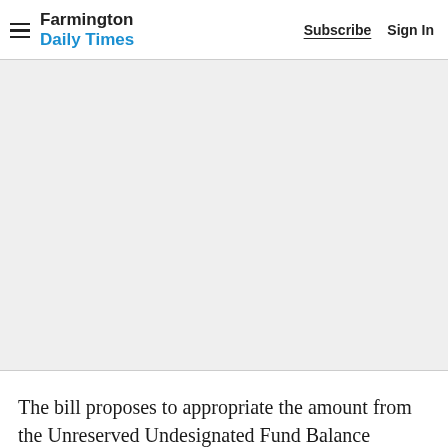Farmington Daily Times — Subscribe  Sign In
[Figure (other): Gray advertisement placeholder area]
The bill proposes to appropriate the amount from the Unreserved Undesignated Fund Balance